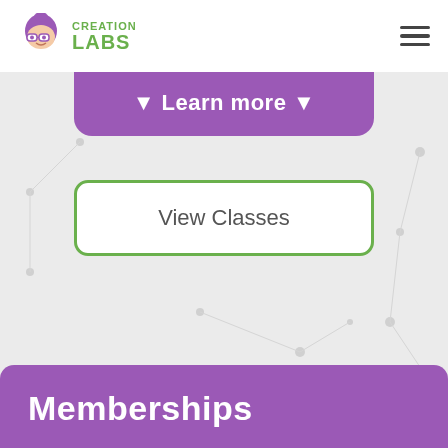[Figure (logo): Creation Labs logo with purple character mascot wearing glasses and green CREATION LABS text]
▼ Learn more ▼
View Classes
Memberships